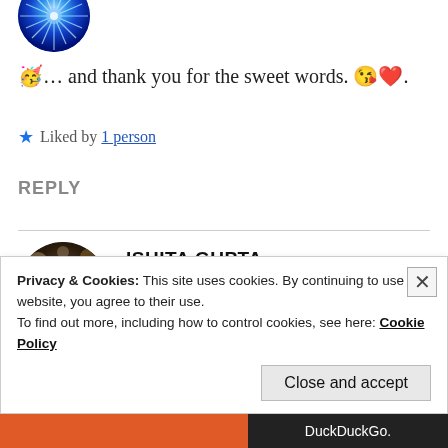[Figure (photo): Partial circular avatar showing blue radial light effect, cropped at top of page]
🥳... and thank you for the sweet words. 😘❤️.
★ Liked by 1 person
REPLY
[Figure (photo): Circular avatar photo of Ishita Gupta showing a person with bokeh lights background]
ISHITA GUPTA
Jun 15, 2020 at 11:34 am
Privacy & Cookies: This site uses cookies. By continuing to use this website, you agree to their use.
To find out more, including how to control cookies, see here: Cookie Policy
Close and accept